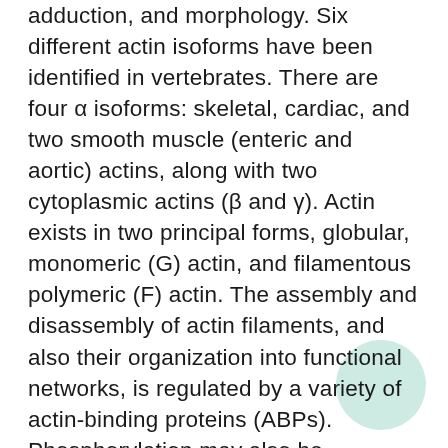adduction, and morphology. Six different actin isoforms have been identified in vertebrates. There are four α isoforms: skeletal, cardiac, and two smooth muscle (enteric and aortic) actins, along with two cytoplasmic actins (β and γ). Actin exists in two principal forms, globular, monomeric (G) actin, and filamentous polymeric (F) actin. The assembly and disassembly of actin filaments, and also their organization into functional networks, is regulated by a variety of actin-binding proteins (ABPs). Phosphorylation may also be important for regulating actin assembly and interaction with ABPs. In Dictyostelium, phosphorylation of Tyr-53 occurs in response to cell stress and this phosphorylation may alter actin polymerization. In B cells, SHP-1 tyrosine dephosphorylation of actin leads to actin filament depolymerization